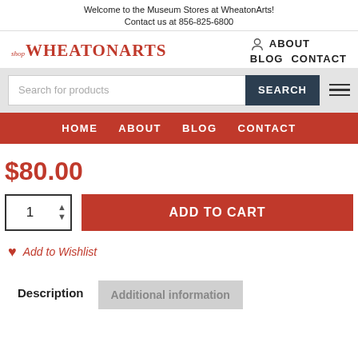Welcome to the Museum Stores at WheatonArts!
Contact us at 856-825-6800
[Figure (logo): Shop WheatonArts logo with red text and small italic 'shop' prefix]
ABOUT BLOG CONTACT
Search for products
SEARCH
HOME ABOUT BLOG CONTACT
$80.00
1 ADD TO CART
Add to Wishlist
Description
Additional information